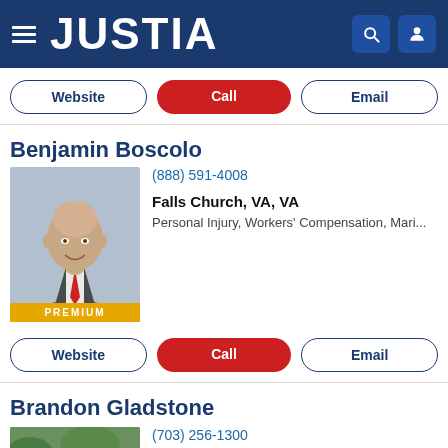JUSTIA
Website | Call | Email
Benjamin Boscolo
(888) 591-4008
Falls Church, VA, VA
Personal Injury, Workers' Compensation, Mari...
PREMIUM
Website | Call | Email
Brandon Gladstone
(703) 256-1300
Springfield, VA
Personal Injury, Nursing Home Abuse, Medica...